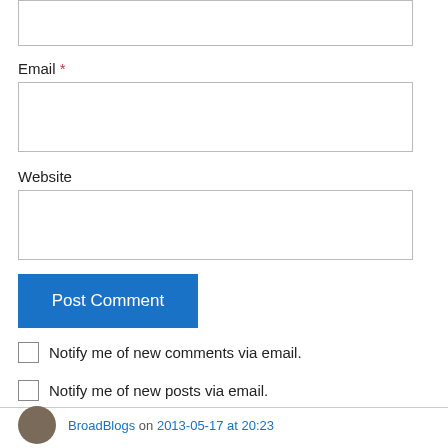[Figure (screenshot): Empty text input box at the top of the page]
Email *
[Figure (screenshot): Email text input field]
Website
[Figure (screenshot): Website text input field]
[Figure (screenshot): Post Comment button (blue)]
Notify me of new comments via email.
Notify me of new posts via email.
BroadBlogs on 2013-05-17 at 20:23